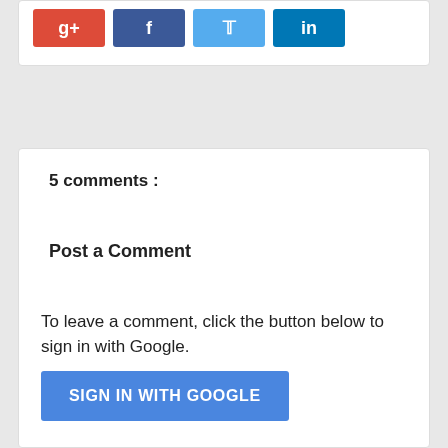[Figure (other): Social sharing buttons: Google+, Facebook, Twitter, LinkedIn]
5 comments :
Post a Comment
To leave a comment, click the button below to sign in with Google.
SIGN IN WITH GOOGLE